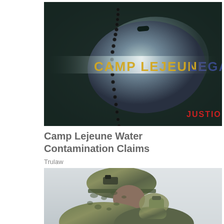[Figure (photo): Military dog tags on a dark textured surface with the text 'CAMP LEJEUNE LEGAL' in yellow and blue letters, and 'JUSTIO' in red letters at bottom right]
Camp Lejeune Water Contamination Claims
Trulaw
[Figure (photo): A soldier in camouflage gear and helmet drinking from a canteen or water container]